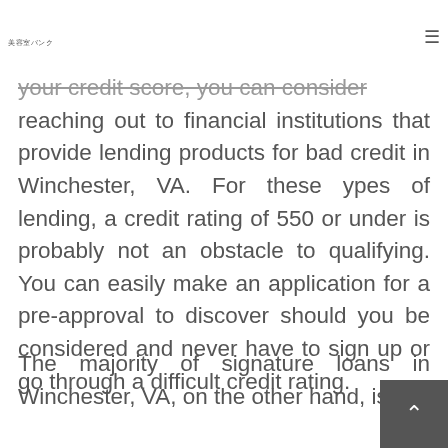美容室バンク
your credit score, you can consider reaching out to financial institutions that provide lending products for bad credit in Winchester, VA. For these ypes of lending, a credit rating of 550 or under is probably not an obstacle to qualifying. You can easily make an application for a pre-approval to discover should you be considered and never have to sign up or go through a difficult credit rating.
The majority of signature loans in Winchester, VA, on the other hand, is